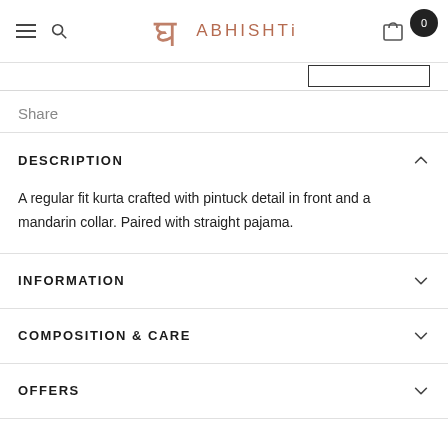ABHISHTI
Share
DESCRIPTION
A regular fit kurta crafted with pintuck detail in front and a mandarin collar. Paired with straight pajama.
INFORMATION
COMPOSITION & CARE
OFFERS